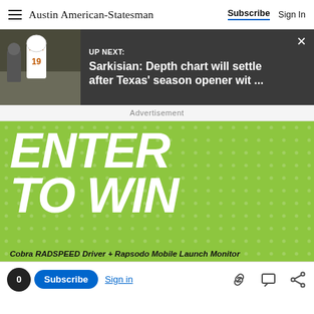Austin American-Statesman | Subscribe | Sign In
[Figure (screenshot): Up Next banner with football player photo: 'UP NEXT: Sarkisian: Depth chart will settle after Texas' season opener wit ...']
Advertisement
[Figure (infographic): Green promotional advertisement banner reading 'ENTER TO WIN' with 'Cobra RADSPEED Driver + Rapsodo Mobile Launch Monitor' text at the bottom]
0 Subscribe Sign in